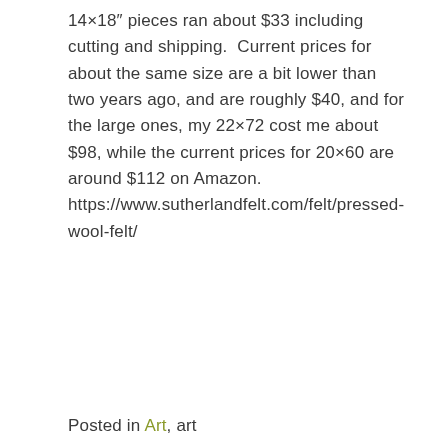14×18″ pieces ran about $33 including cutting and shipping.  Current prices for about the same size are a bit lower than two years ago, and are roughly $40, and for the large ones, my 22×72 cost me about $98, while the current prices for 20×60 are around $112 on Amazon.  https://www.sutherlandfelt.com/felt/pressed-wool-felt/
Posted in Art, art